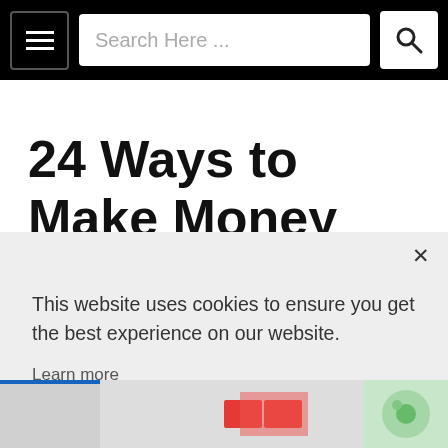[Figure (screenshot): Website header with hamburger menu icon, search bar with placeholder 'Search Here ...', and search button icon on a black background.]
24 Ways to Make Money Blogging & How To
[Figure (screenshot): Cookie consent modal popup with close button (x), text 'This website uses cookies to ensure you get the best experience on our website.', a 'Learn more' link, a 'Decline' button, and an orange 'Accept' button.]
[Figure (screenshot): Bottom strip showing partial article thumbnail images.]